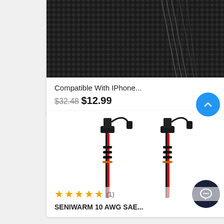[Figure (photo): Dark carbon fiber textured background with diagonal lines, product image for iPhone compatible item]
Compatible With IPhone...
$32.48 $12.99
[Figure (photo): Two red and black SAE connector cables with right-angle connectors on white background]
★★★★★ (1)
SENIWARM 10 AWG SAE...